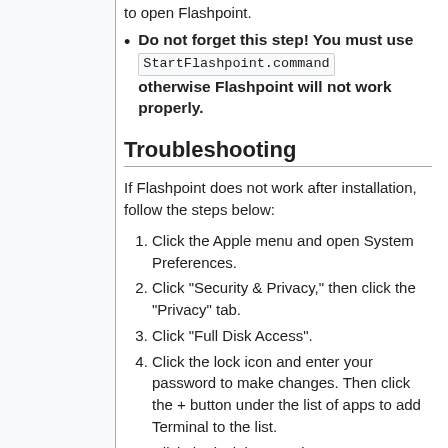Do not forget this step! You must use StartFlashpoint.command otherwise Flashpoint will not work properly.
Troubleshooting
If Flashpoint does not work after installation, follow the steps below:
1. Click the Apple menu and open System Preferences.
2. Click "Security & Privacy," then click the "Privacy" tab.
3. Click "Full Disk Access".
4. Click the lock icon and enter your password to make changes. Then click the + button under the list of apps to add Terminal to the list.
5. Click the lock icon again to save